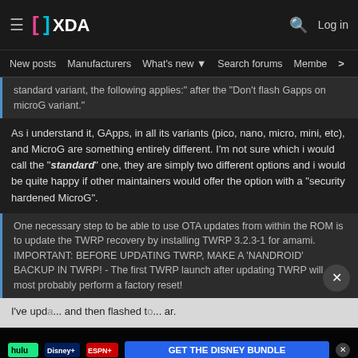XDA — New posts | Manufacturers | What's new | Search forums | Members
standard variant, the following applies:" after the "Don't flash Gapps on microG variant."
As i understand it, GApps, in all its variants (pico, nano, micro, mini, etc), and MicroG are something entirely different. I'm not sure which i would call the "standard" one, they are simply two different options and i would be quite happy if other maintainers would offer the option with a "security hardened MicroG".
One necessary step to be able to use OTA updates from within the ROM is to update the TWRP recovery by installing TWRP 3.2.3-1 for amami. IMPORTANT: BEFORE UPDATING TWRP, MAKE A 'NANDROID' BACKUP IN TWRP! - The first TWRP launch after updating TWRP will most probably perform a factory reset!
I've upda... and then flashed t... ar.
[Figure (screenshot): Disney Bundle advertisement banner with Hulu, Disney+, ESPN+ logos and blue CTA button]
Last edited: August 2019